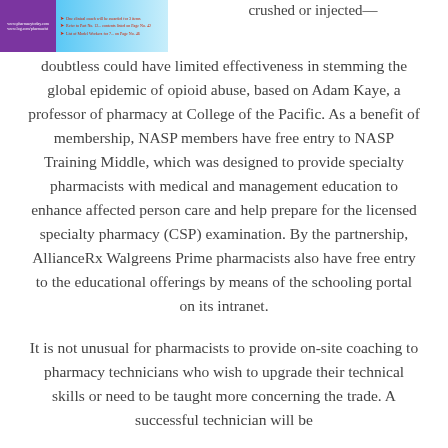[Figure (screenshot): A small screenshot showing what appears to be a pharmacy or medical information graphic with purple and light blue sections containing small text and red arrow indicators.]
crushed or injected—doubtless could have limited effectiveness in stemming the global epidemic of opioid abuse, based on Adam Kaye, a professor of pharmacy at College of the Pacific. As a benefit of membership, NASP members have free entry to NASP Training Middle, which was designed to provide specialty pharmacists with medical and management education to enhance affected person care and help prepare for the licensed specialty pharmacy (CSP) examination. By the partnership, AllianceRx Walgreens Prime pharmacists also have free entry to the educational offerings by means of the schooling portal on its intranet.
It is not unusual for pharmacists to provide on-site coaching to pharmacy technicians who wish to upgrade their technical skills or need to be taught more concerning the trade. A successful technician will be